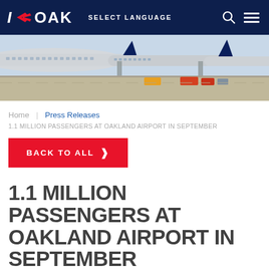I ✈ OAK  SELECT LANGUAGE
[Figure (photo): Aerial view of passenger airplanes parked at airport gates on a sunny day, showing multiple aircraft fuselages and ground service vehicles.]
Home | Press Releases
1.1 MILLION PASSENGERS AT OAKLAND AIRPORT IN SEPTEMBER
BACK TO ALL »
1.1 MILLION PASSENGERS AT OAKLAND AIRPORT IN SEPTEMBER
Press Releases
October 31st, 2018